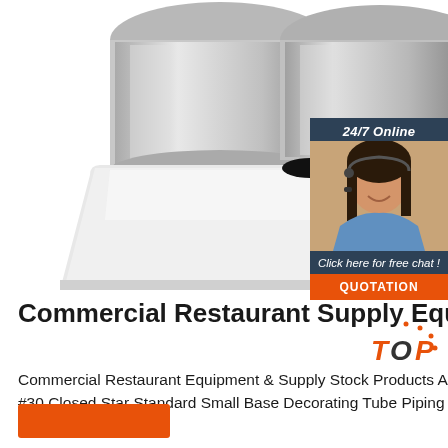[Figure (photo): Commercial restaurant equipment / mixer machine, stainless steel silver color, white base, photographed on white background]
[Figure (infographic): 24/7 Online customer service chat widget with female agent wearing headset, dark blue background, 'Click here for free chat!' text, orange QUOTATION button]
Commercial Restaurant Supply Equipment
Commercial Restaurant Equipment & Supply Stock Products Ateco 30 Stainless Steel #30 Closed Star Standard Small Base Decorating Tube Piping Tip (August Thomsen)
[Figure (logo): TOP badge logo in orange and dark text with decorative dots]